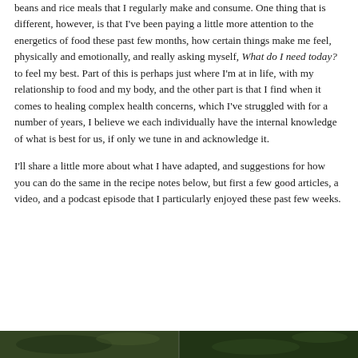beans and rice meals that I regularly make and consume. One thing that is different, however, is that I've been paying a little more attention to the energetics of food these past few months, how certain things make me feel, physically and emotionally, and really asking myself, What do I need today? to feel my best. Part of this is perhaps just where I'm at in life, with my relationship to food and my body, and the other part is that I find when it comes to healing complex health concerns, which I've struggled with for a number of years, I believe we each individually have the internal knowledge of what is best for us, if only we tune in and acknowledge it.
I'll share a little more about what I have adapted, and suggestions for how you can do the same in the recipe notes below, but first a few good articles, a video, and a podcast episode that I particularly enjoyed these past few weeks.
[Figure (photo): Bottom strip showing two side-by-side photos: left appears to be a food/nature photo with dark green tones, right also shows green/plant material]